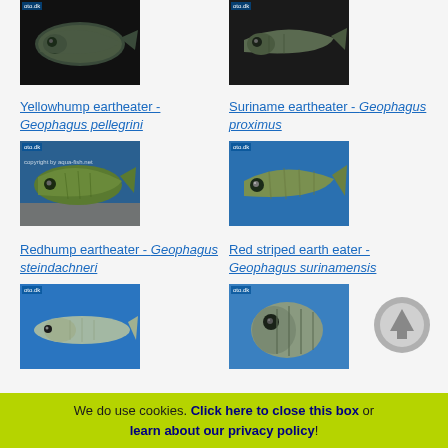[Figure (photo): Yellowhump eartheater fish photo (dark background)]
[Figure (photo): Suriname eartheater fish photo (dark background)]
Yellowhump eartheater - Geophagus pellegrini
Suriname eartheater - Geophagus proximus
[Figure (photo): Redhump eartheater fish photo (oto.dk watermark, blue/gravel background)]
[Figure (photo): Red striped earth eater fish photo (oto.dk watermark, blue background)]
Redhump eartheater - Geophagus steindachneri
Red striped earth eater - Geophagus surinamensis
[Figure (photo): Fish photo (oto.dk watermark, blue background, slim silver fish)]
[Figure (photo): Fish photo (oto.dk watermark, blue background, striped fish facing front)]
We do use cookies. Click here to close this box or learn about our privacy policy!